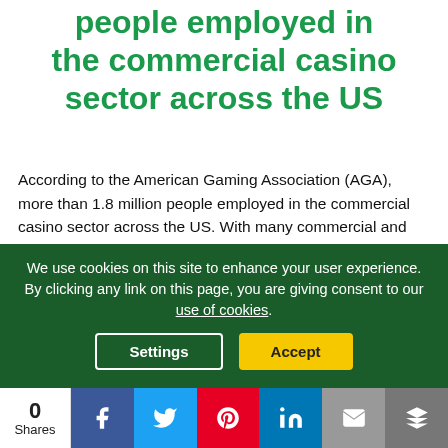people employed in the commercial casino sector across the US
According to the American Gaming Association (AGA), more than 1.8 million people employed in the commercial casino sector across the US. With many commercial and tribal gambling interests teetering on the edge of ruin, it could spell disaster for employment and local economic activity.
President Donald Trump is proposing an overall stimulus
We use cookies on this site to enhance your user experience. By clicking any link on this page, you are giving consent to our use of cookies.
Settings
Accept
0 Shares | Facebook | Twitter | Pinterest | LinkedIn | Email | Bookmark